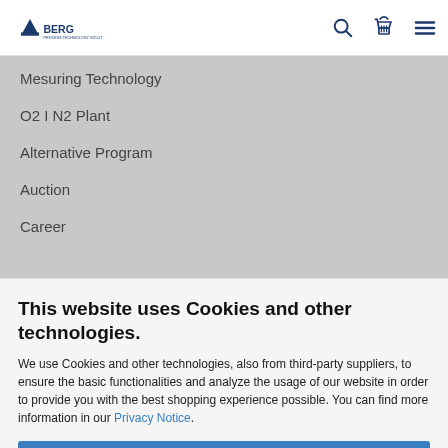BERG [logo] [search icon] [cart icon] [menu icon]
Mesuring Technology
O2 I N2 Plant
Alternative Program
Auction
Career
This website uses Cookies and other technologies.
We use Cookies and other technologies, also from third-party suppliers, to ensure the basic functionalities and analyze the usage of our website in order to provide you with the best shopping experience possible. You can find more information in our Privacy Notice.
Accept all
More information